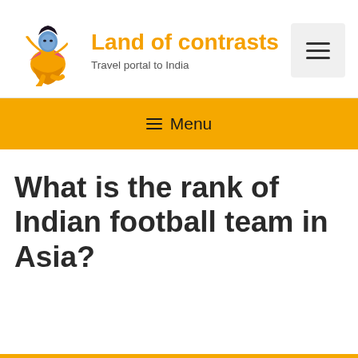Land of contrasts — Travel portal to India
[Figure (illustration): Indian classical dancer in orange and pink costume, blue-tinted face, dancing pose]
Land of contrasts
Travel portal to India
☰ Menu
What is the rank of Indian football team in Asia?